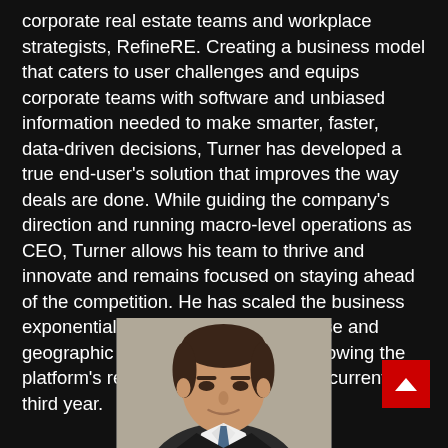corporate real estate teams and workplace strategists, RefineRE. Creating a business model that caters to user challenges and equips corporate teams with software and unbiased information needed to make smarter, faster, data-driven decisions, Turner has developed a true end-user's solution that improves the way deals are done. While guiding the company's direction and running macro-level operations as CEO, Turner allows his team to thrive and innovate and remains focused on staying ahead of the competition. He has scaled the business exponentially; expanding its client base and geographic footprint globally, while growing the platform's revenue substantially in its current third year.
[Figure (photo): Headshot photo of a man with dark hair, wearing a dark suit, photographed against a neutral background.]